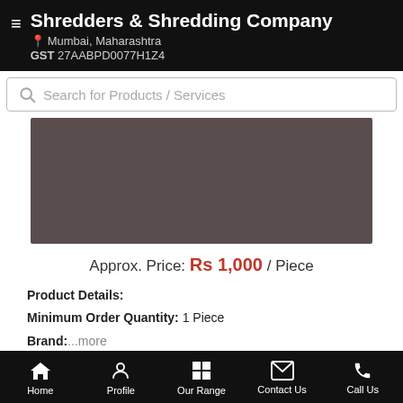Shredders & Shredding Company | Mumbai, Maharashtra | GST 27AABPD0077H1Z4
Search for Products / Services
[Figure (photo): Product image placeholder - dark brownish-grey rectangle]
Approx. Price: Rs 1,000 / Piece
Product Details:
Minimum Order Quantity: 1 Piece
Brand: ...more
Call Us
Get Details
Home | Profile | Our Range | Contact Us | Call Us